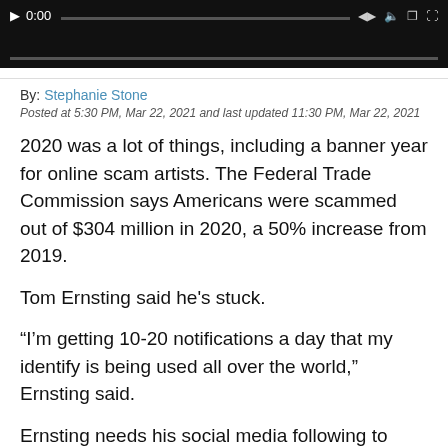[Figure (screenshot): Video player bar showing 0:00 timestamp and playback controls on black background]
By: Stephanie Stone
Posted at 5:30 PM, Mar 22, 2021 and last updated 11:30 PM, Mar 22, 2021
2020 was a lot of things, including a banner year for online scam artists. The Federal Trade Commission says Americans were scammed out of $304 million in 2020, a 50% increase from 2019.
Tom Ernsting said he's stuck.
“I’m getting 10-20 notifications a day that my identify is being used all over the world,” Ernsting said.
Ernsting needs his social media following to keep his